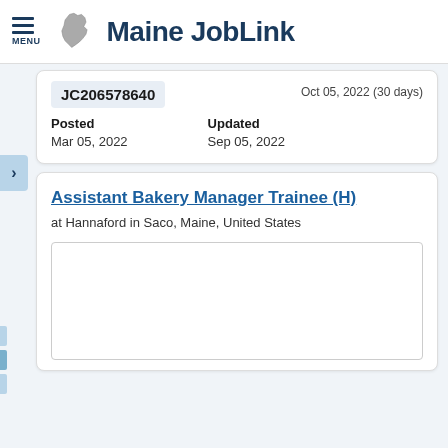Maine JobLink
JC206578640
Oct 05, 2022 (30 days)
Posted
Mar 05, 2022
Updated
Sep 05, 2022
Assistant Bakery Manager Trainee (H)
at Hannaford in Saco, Maine, United States